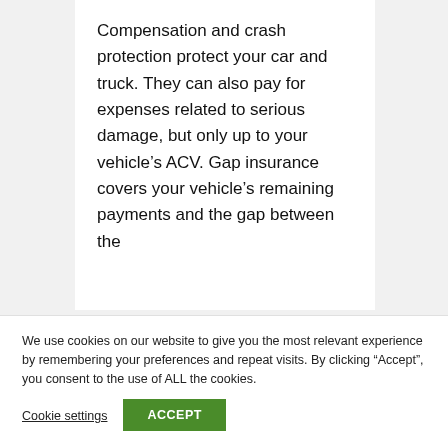Compensation and crash protection protect your car and truck. They can also pay for expenses related to serious damage, but only up to your vehicle's ACV. Gap insurance covers your vehicle's remaining payments and the gap between the...
We use cookies on our website to give you the most relevant experience by remembering your preferences and repeat visits. By clicking “Accept”, you consent to the use of ALL the cookies.
Cookie settings
ACCEPT